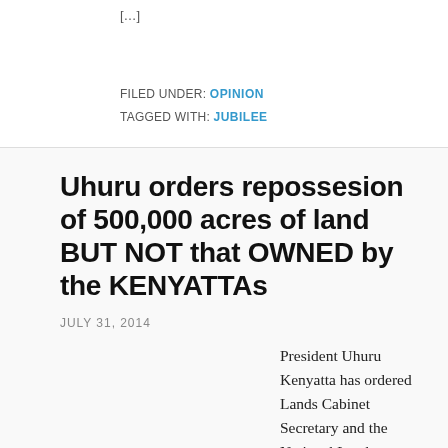[…]
FILED UNDER: OPINION
TAGGED WITH: JUBILEE
Uhuru orders repossesion of 500,000 acres of land BUT NOT that OWNED by the KENYATTAs
JULY 31, 2014
President Uhuru Kenyatta has ordered Lands Cabinet Secretary and the National Lands